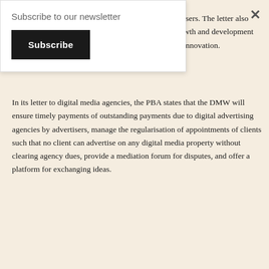Subscribe to our newsletter
Subscribe
×
digital broadcasters, advertising agencies, and advertisers. The letter also states that the PBA also aims to play a role in the growth and development of digital media in Pakistan and to encourage digital innovation.
In its letter to digital media agencies, the PBA states that the DMW will ensure timely payments of outstanding payments due to digital advertising agencies by advertisers, manage the regularisation of appointments of clients such that no client can advertise on any digital media property without clearing agency dues, provide a mediation forum for disputes, and offer a platform for exchanging ideas.